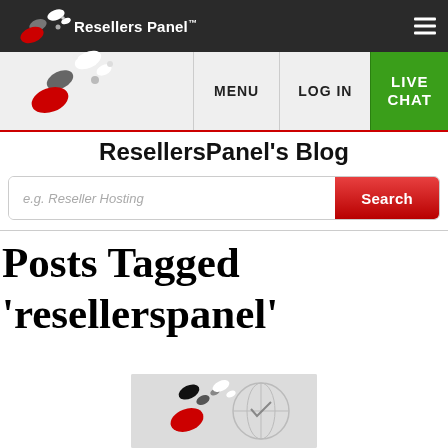[Figure (logo): Resellers Panel logo with colored oval dots and brand name in top navigation bar]
MENU   LOG IN   LIVE CHAT
ResellersPanel's Blog
e.g. Reseller Hosting
Posts Tagged 'resellerspanel'
[Figure (logo): ResellersPanel logo with oval dots and globe icon]